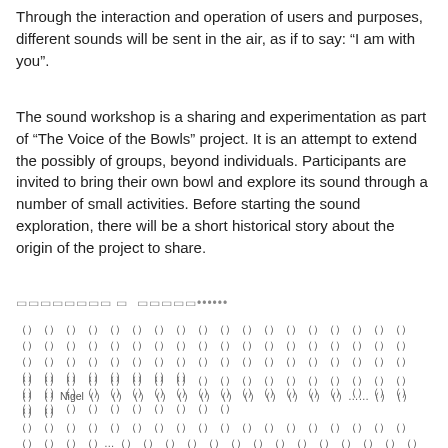Through the interaction and operation of users and purposes, different sounds will be sent in the air, as if to say: “I am with you”.
The sound workshop is a sharing and experimentation as part of “The Voice of the Bowls” project. It is an attempt to extend the possibly of groups, beyond individuals. Participants are invited to bring their own bowl and explore its sound through a number of small activities. Before starting the sound exploration, there will be a short historical story about the origin of the project to share.
□□□□□□□□ □  □□□□□••••••
「」「」「」「」「」「」「」「」「」「」「」「」「」「」「」「」「」「」「」「」「」「」「」「」「」「」「」「」「」「」「」「」「」「」「」「」「」「」「」「」「」「」「」「」「」「」「」「」「」「」「」「」「」「」
CJK text block with Nigel mention and ellipsis characters